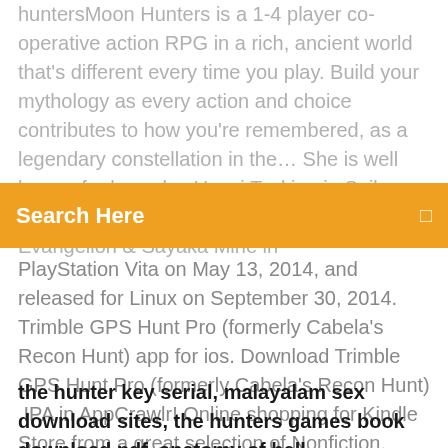huntersMoon Hunters is a 1-4 player co-operative action RPG in a rich, ancient world that's different every time you play. Build your mythology as every action and choice contributes to how you're remembered, as a legendary constellation in the… She is well known for her roles Usagi Tsukino in Sailor Moon and Misato Katsuragi in Neon Genesis Evangelion & Sayaka Mine in
[Figure (other): Orange search bar with text 'Search Here' and a search icon on the right]
PlayStation Vita on May 13, 2014, and released for Linux on September 30, 2014. Trimble GPS Hunt Pro (formerly Cabela's Recon Hunt) app for ios. Download Trimble GPS Hunt Pro (formerly Cabela's Recon Hunt) .IPA in AppCrawlr! Online shopping for Kindle Store from a great selection of Nonfiction, eBooks in Foreign Languages, Literature & Fiction, Romance, Education & Reference & more at everyday low prices.
the hunter key serial, malayalam sex download sites, the hunters games book download pdf, anatomy of hell